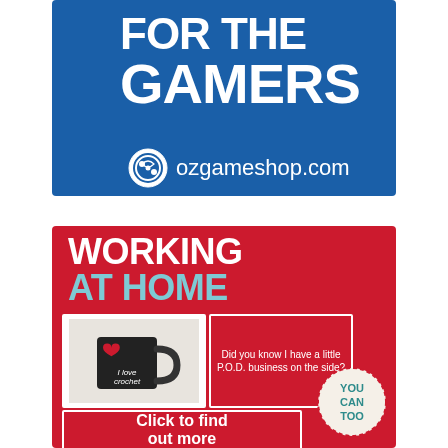[Figure (infographic): Blue advertisement banner for ozgameshop.com with large white bold text reading 'FOR THE GAMERS' and the website logo with URL ozgameshop.com at the bottom.]
[Figure (infographic): Red advertisement banner titled 'WORKING AT HOME' in bold white and teal text, featuring an image of a black mug saying 'I love crochet', a speech bubble asking 'Did you know I have a little P.O.D. business on the side?', a circular badge saying 'YOU CAN TOO', and a white-bordered button saying 'Click to find out more'.]